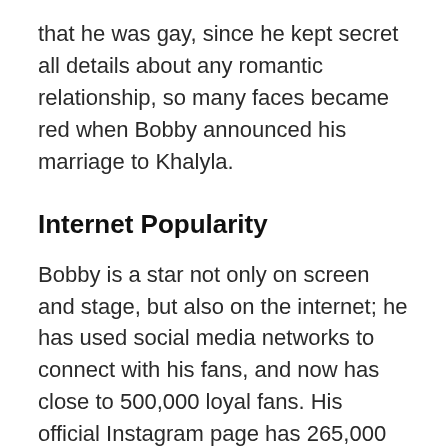that he was gay, since he kept secret all details about any romantic relationship, so many faces became red when Bobby announced his marriage to Khalyla.
Internet Popularity
Bobby is a star not only on screen and stage, but also on the internet; he has used social media networks to connect with his fans, and now has close to 500,000 loyal fans. His official Instagram page has 265,000 followers, with whom he has shared pictures of himself in various comedy situations, which has made